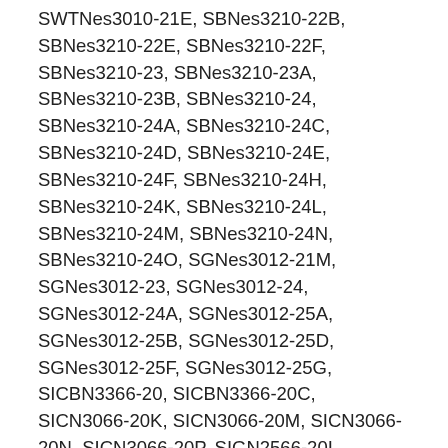SWTNes3010-21E, SBNes3210-22B, SBNes3210-22E, SBNes3210-22F, SBNes3210-23, SBNes3210-23A, SBNes3210-23B, SBNes3210-24, SBNes3210-24A, SBNes3210-24C, SBNes3210-24D, SBNes3210-24E, SBNes3210-24F, SBNes3210-24H, SBNes3210-24K, SBNes3210-24L, SBNes3210-24M, SBNes3210-24N, SBNes3210-24O, SGNes3012-21M, SGNes3012-23, SGNes3012-24, SGNes3012-24A, SGNes3012-25A, SGNes3012-25B, SGNes3012-25D, SGNes3012-25F, SGNes3012-25G, SICBN3366-20, SICBN3366-20C, SICN3066-20K, SICN3066-20M, SICN3066-20N, SICN3066-20P, SIGN2566-20I, SIGN2566-20M, SIGN2566-20N, SIGN3576-20A, SIGN3576-21A, SWTNes3010-22A, SWTNes3010-22B, SWTNes3010-22D, SWTNes3010-22E, SWTNes3010-23, SWTNes3010-23A, SWTNes3010-24, SWTNes3010-24A, SWTNes3010-24B